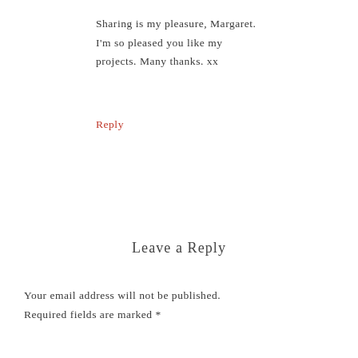Sharing is my pleasure, Margaret. I'm so pleased you like my projects. Many thanks. xx
Reply
Leave a Reply
Your email address will not be published. Required fields are marked *